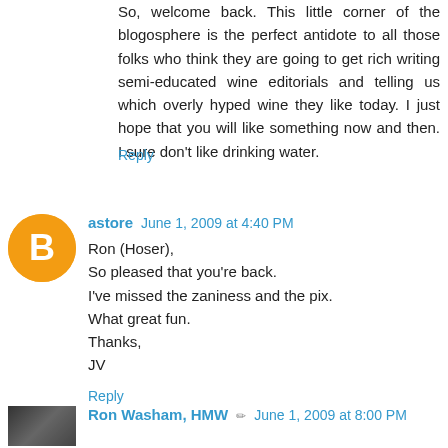So, welcome back. This little corner of the blogosphere is the perfect antidote to all those folks who think they are going to get rich writing semi-educated wine editorials and telling us which overly hyped wine they like today. I just hope that you will like something now and then. I sure don't like drinking water.
Reply
astore  June 1, 2009 at 4:40 PM
Ron (Hoser),
So pleased that you're back.
I've missed the zaniness and the pix.
What great fun.
Thanks,
JV
Reply
Ron Washam, HMW  June 1, 2009 at 8:00 PM